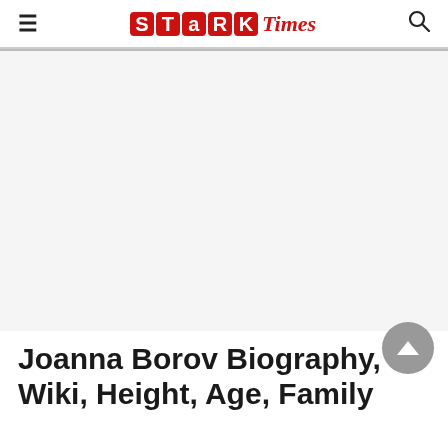≡  STARK Times  🔍
[Figure (other): Large white/light gray advertisement placeholder area]
Joanna Borov Biography, Wiki, Height, Age, Family